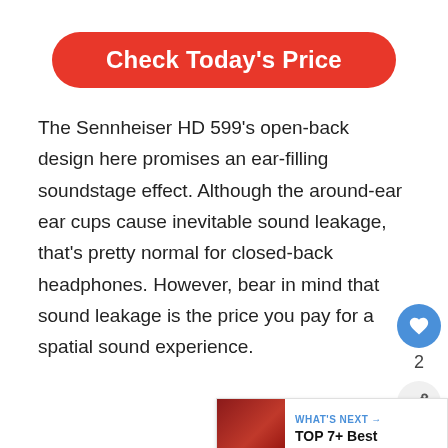[Figure (other): Red rounded rectangle button with white text reading 'Check Today's Price']
The Sennheiser HD 599's open-back design here promises an ear-filling soundstage effect. Although the around-ear ear cups cause inevitable sound leakage, that's pretty normal for closed-back headphones. However, bear in mind that sound leakage is the price you pay for a spatial sound experience.
[Figure (other): Blue heart icon button with like count '2' and a share icon button below]
[Figure (other): WHAT'S NEXT widget showing 'TOP 7+ Best Headphones...' with a thumbnail image]